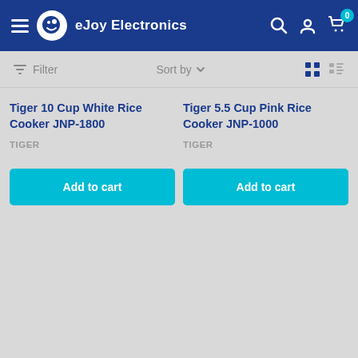eJoy Electronics — navigation bar with hamburger menu, logo, search, account, and cart (0 items)
Filter  Sort by  ▾
Tiger 10 Cup White Rice Cooker JNP-1800
TIGER
Add to cart
Tiger 5.5 Cup Pink Rice Cooker JNP-1000
TIGER
Add to cart